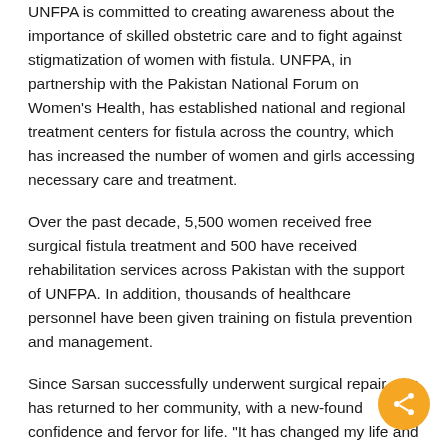UNFPA is committed to creating awareness about the importance of skilled obstetric care and to fight against stigmatization of women with fistula. UNFPA, in partnership with the Pakistan National Forum on Women's Health, has established national and regional treatment centers for fistula across the country, which has increased the number of women and girls accessing necessary care and treatment.
Over the past decade, 5,500 women received free surgical fistula treatment and 500 have received rehabilitation services across Pakistan with the support of UNFPA. In addition, thousands of healthcare personnel have been given training on fistula prevention and management.
Since Sarsan successfully underwent surgical repair, she has returned to her community, with a new-found confidence and fervor for life. "It has changed my life and the lives of those in my family," Sarsan told UNFPA. "In the future, I will encourage other women in my community to visit a skilled health care provider."